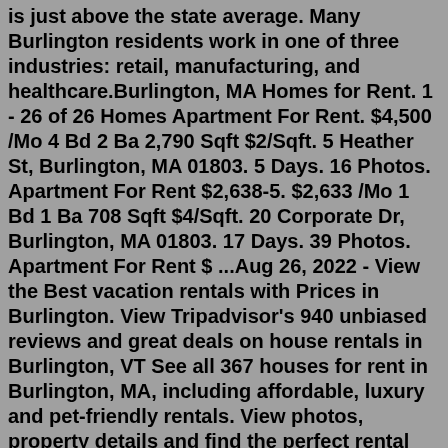is just above the state average. Many Burlington residents work in one of three industries: retail, manufacturing, and healthcare.Burlington, MA Homes for Rent. 1 - 26 of 26 Homes Apartment For Rent. $4,500 /Mo 4 Bd 2 Ba 2,790 Sqft $2/Sqft. 5 Heather St, Burlington, MA 01803. 5 Days. 16 Photos. Apartment For Rent $2,638-5. $2,633 /Mo 1 Bd 1 Ba 708 Sqft $4/Sqft. 20 Corporate Dr, Burlington, MA 01803. 17 Days. 39 Photos. Apartment For Rent $ ...Aug 26, 2022 - View the Best vacation rentals with Prices in Burlington. View Tripadvisor's 940 unbiased reviews and great deals on house rentals in Burlington, VT See all 367 houses for rent in Burlington, MA, including affordable, luxury and pet-friendly rentals. View photos, property details and find the perfect rental today. 50-52 Howard St. Burlington, VT 05401. 50 Howard St - 4 Bedroom, 1 bathroom, second floor apartment in Burlington's South End. Currently ... Check Availability. Pet friendly apartment for rent. Showing 1-12 of 21 matches in Burlington. 1. 2. 28 accommodations in